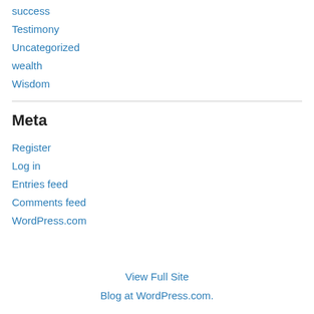success
Testimony
Uncategorized
wealth
Wisdom
Meta
Register
Log in
Entries feed
Comments feed
WordPress.com
View Full Site
Blog at WordPress.com.